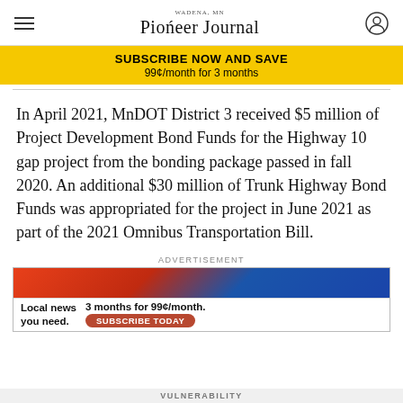Pioneer Journal
[Figure (infographic): Subscribe now and save banner: SUBSCRIBE NOW AND SAVE, 99¢/month for 3 months]
In April 2021, MnDOT District 3 received $5 million of Project Development Bond Funds for the Highway 10 gap project from the bonding package passed in fall 2020. An additional $30 million of Trunk Highway Bond Funds was appropriated for the project in June 2021 as part of the 2021 Omnibus Transportation Bill.
ADVERTISEMENT
[Figure (infographic): Advertisement banner: Local news you need. 3 months for 99¢/month. SUBSCRIBE TODAY button.]